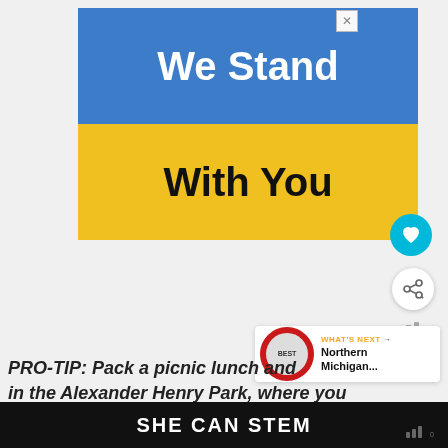[Figure (illustration): Advertisement banner with Ukrainian flag colors. Top half blue with white bold text 'We Stand', bottom half yellow with black bold text 'With You'. Close button (X) in top right corner.]
PRO-TIP: Pack a picnic lunch and ... in the Alexander Henry Park, where you ca...
[Figure (infographic): What's Next panel showing thumbnail image and text 'Northern Michigan...' with orange 'WHAT'S NEXT' label]
SHE CAN STEM